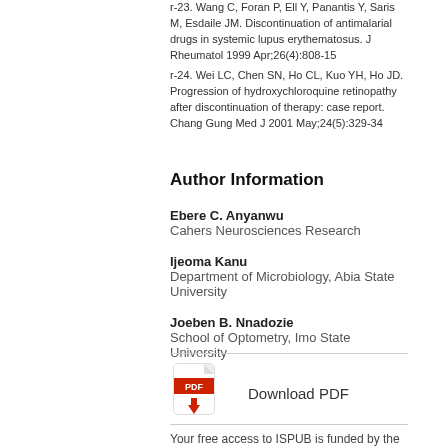r-23. Wang C, Foran P, Ell Y, Panantis Y, Saris M, Esdaile JM. Discontinuation of antimalarial drugs in systemic lupus erythematosus. J Rheumatol 1999 Apr;26(4):808-15
r-24. Wei LC, Chen SN, Ho CL, Kuo YH, Ho JD. Progression of hydroxychloroquine retinopathy after discontinuation of therapy: case report. Chang Gung Med J 2001 May;24(5):329-34
Author Information
Ebere C. Anyanwu
Cahers Neurosciences Research
Ijeoma Kanu
Department of Microbiology, Abia State University
Joeben B. Nnadozie
School of Optometry, Imo State University
[Figure (illustration): PDF download icon — red and white PDF logo with a red downward arrow beneath it]
Download PDF
Your free access to ISPUB is funded by the following